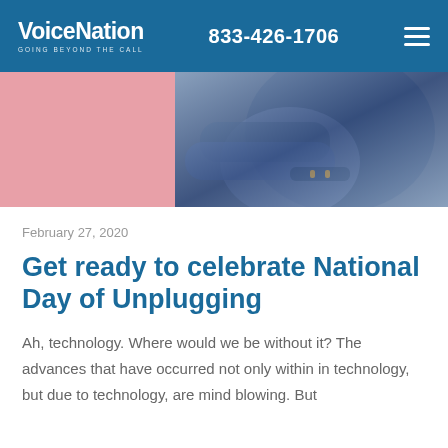VoiceNation GOING BEYOND THE CALL | 833-426-1706
[Figure (photo): Hero image showing a person in a denim jacket with arms crossed against a pink background, cropped to show torso only]
February 27, 2020
Get ready to celebrate National Day of Unplugging
Ah, technology. Where would we be without it? The advances that have occurred not only within in technology, but due to technology, are mind blowing. But